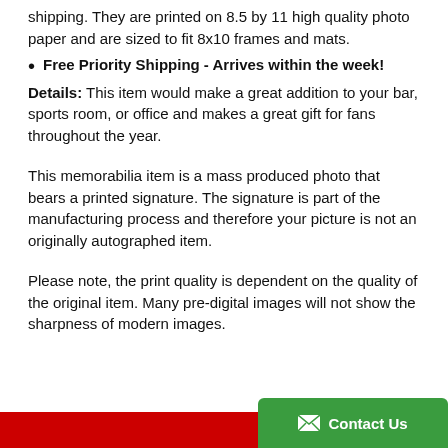shipping. They are printed on 8.5 by 11 high quality photo paper and are sized to fit 8x10 frames and mats.
Free Priority Shipping - Arrives within the week!
Details: This item would make a great addition to your bar, sports room, or office and makes a great gift for fans throughout the year.
This memorabilia item is a mass produced photo that bears a printed signature. The signature is part of the manufacturing process and therefore your picture is not an originally autographed item.
Please note, the print quality is dependent on the quality of the original item. Many pre-digital images will not show the sharpness of modern images.